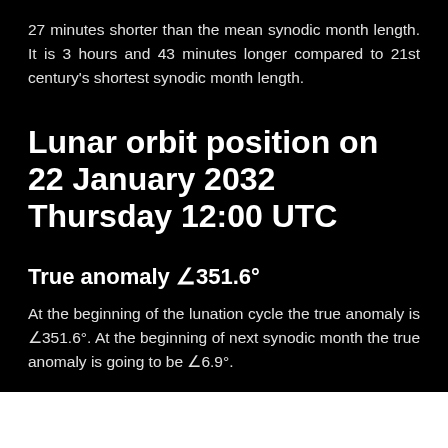27 minutes shorter than the mean synodic month length. It is 3 hours and 43 minutes longer compared to 21st century's shortest synodic month length.
Lunar orbit position on 22 January 2032 Thursday 12:00 UTC
True anomaly ∠351.6°
At the beginning of the lunation cycle the true anomaly is ∠351.6°. At the beginning of next synodic month the true anomaly is going to be ∠6.9°.